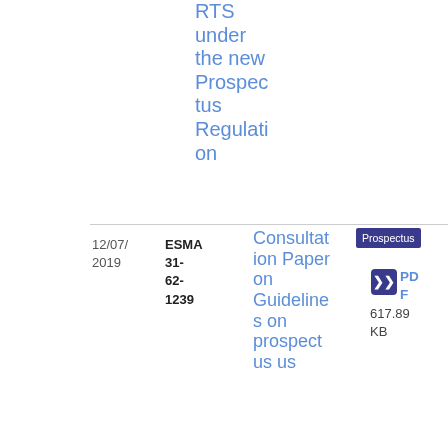RTS under the new Prospectus Regulation
12/07/2019
ESMA 31-62-1239
Consultation Paper on Guidelines on prospectus
Prospectus
Consultation Paper
PDF
617.89 KB